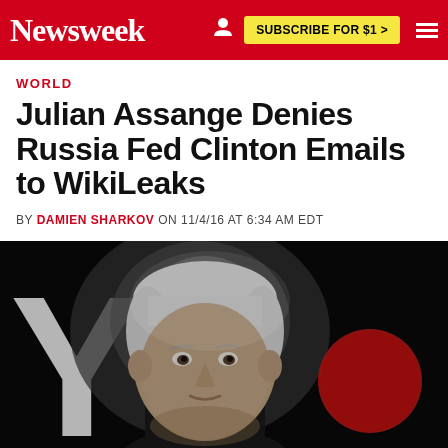Newsweek | SUBSCRIBE FOR $1 >
WORLD
Julian Assange Denies Russia Fed Clinton Emails to WikiLeaks
BY DAMIEN SHARKOV ON 11/4/16 AT 6:34 AM EDT
[Figure (photo): Julian Assange projected on a screen or appearing via video link, close-up of his face with white/silver hair, against a dark background with a red circular light visible on the right side and large white letter 'Y' on the left]